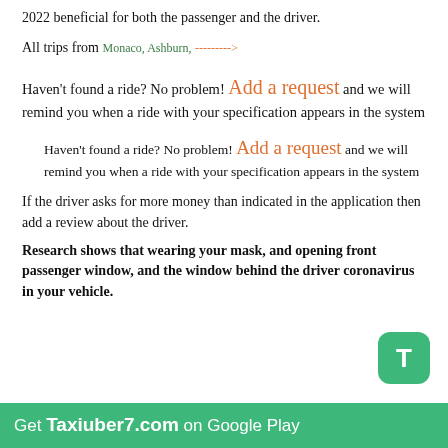2022 beneficial for both the passenger and the driver.
All trips from Monaco, Ashburn, ------->
Haven't found a ride? No problem! Add a request and we will remind you when a ride with your specification appears in the system
Haven't found a ride? No problem! Add a request and we will remind you when a ride with your specification appears in the system
If the driver asks for more money than indicated in the application then add a review about the driver.
Research shows that wearing your mask, and opening front passenger window, and the window behind the driver coronavirus in your vehicle.
Get Taxiuber7.com on Google Play